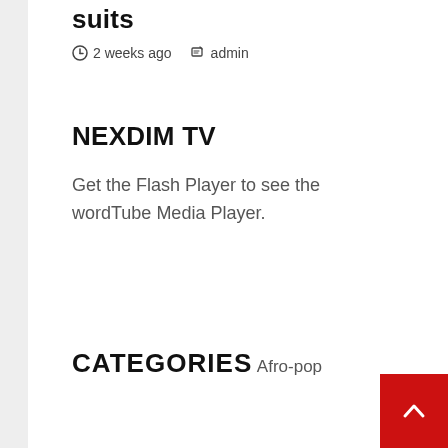suits
2 weeks ago  admin
NEXDIM TV
Get the Flash Player to see the wordTube Media Player.
CATEGORIES
Afro-pop